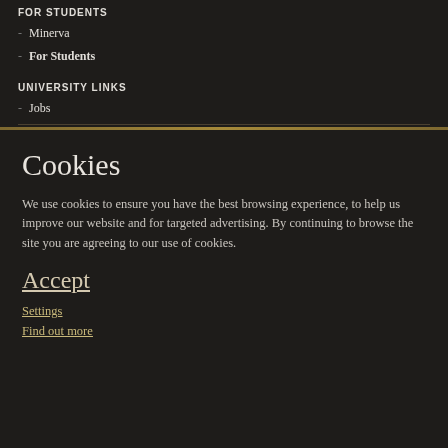FOR STUDENTS
- Minerva
- For Students
UNIVERSITY LINKS
- Jobs
Cookies
We use cookies to ensure you have the best browsing experience, to help us improve our website and for targeted advertising. By continuing to browse the site you are agreeing to our use of cookies.
Accept
Settings
Find out more